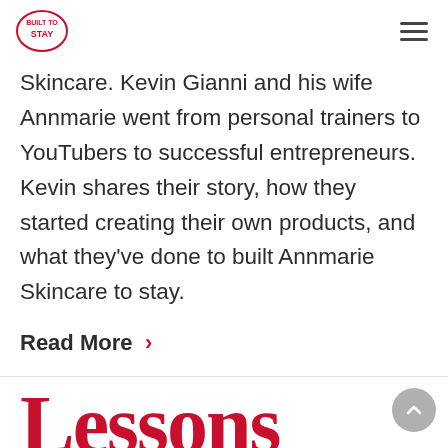Built to Stay (logo) — hamburger menu
Skincare. Kevin Gianni and his wife Annmarie went from personal trainers to YouTubers to successful entrepreneurs. Kevin shares their story, how they started creating their own products, and what they've done to built Annmarie Skincare to stay.
Read More >
Lessons